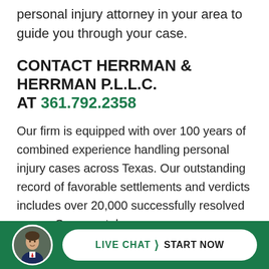compensation. You should contact an experienced personal injury attorney in your area to guide you through your case.
CONTACT HERRMAN & HERRMAN P.L.L.C. AT 361.792.2358
Our firm is equipped with over 100 years of combined experience handling personal injury cases across Texas. Our outstanding record of favorable settlements and verdicts includes over 20,000 successfully resolved cases. Once we take on a case, we are relentless, and you can rely on us to pursue full compensation for you.
[Figure (infographic): Live chat button with attorney avatar photo, green background footer bar. Button reads 'LIVE CHAT > START NOW']